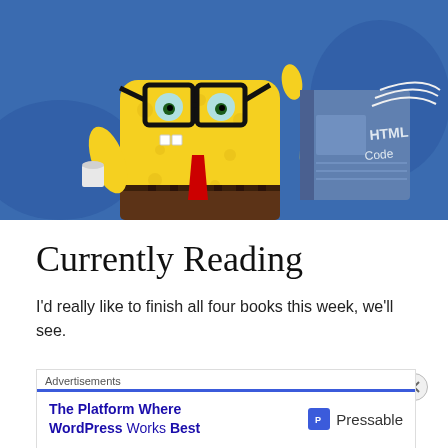[Figure (illustration): Cartoon illustration of SpongeBob SquarePants wearing thick black glasses and a red tie, sitting at a desk reading a book, set against a blue underwater background.]
Currently Reading
I'd really like to finish all four books this week, we'll see.
[Figure (photo): Partially visible dark image showing a face, likely the next image in a blog post.]
Advertisements
The Platform Where WordPress Works Best  Pressable